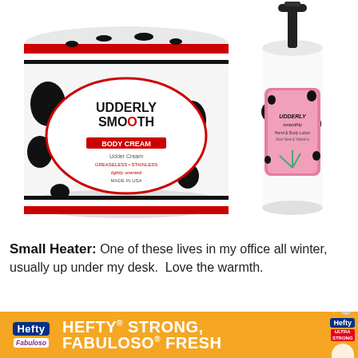[Figure (photo): Three Udderly Smooth skincare products: a large white jar with black and white cow-print label reading 'UDDERLY SMOOTH BODY CREAM - Udder Cream GREASELESS • STAINLESS lightly scented MADE IN USA', a pump bottle in the center with cow-print label reading 'UDDERLY smooth Hand & Body Lotion Aloe Vera & Vitamin E', and a smaller white jar on the right with black and white cow-print label reading 'UDDERLY SMOOTH EXTRA CARE CREAM Unscented with Urea']
Small Heater: One of these lives in my office all winter, usually up under my desk.  Love the warmth.
[Figure (photo): Partial image of a small chrome/metallic heater at the bottom of the page]
[Figure (other): Advertisement banner: Hefty STRONG, FABULOSO FRESH - orange banner ad with Hefty and Fabuloso brand logos, Hefty product image on right side, play and close icons]